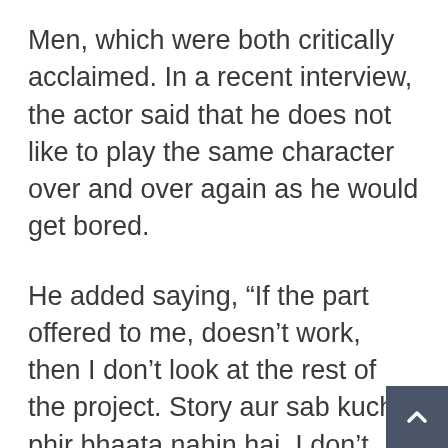Men, which were both critically acclaimed. In a recent interview, the actor said that he does not like to play the same character over and over again as he would get bored.
He added saying, “If the part offered to me, doesn’t work, then I don’t look at the rest of the project. Story aur sab kuch, phir bhaata nahin hai. I don’t want to be the same; an actor, who has been playing a hero for 35 years! If I repeat my characters, I would get bored and would leave this line of work in two years. That’s why I plan my films in a way that they are different from each other so I have